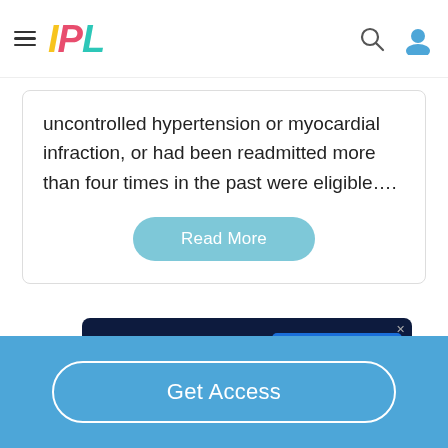IPL
uncontrolled hypertension or myocardial infraction, or had been readmitted more than four times in the past were eligible....
Read More
[Figure (screenshot): Disney Bundle advertisement banner showing Hulu, Disney+, ESPN+ logos with 'GET THE DISNEY BUNDLE' call-to-action]
Get Access